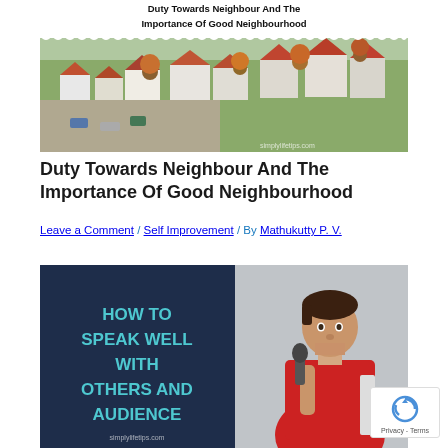[Figure (photo): Aerial view of a European village neighbourhood with houses, roads, and autumn trees. Text overlay reads 'Duty Towards Neighbour And The Importance Of Good Neighbourhood' on a white scalloped banner at top. Watermark: simplylifetips.com]
Duty Towards Neighbour And The Importance Of Good Neighbourhood
Leave a Comment / Self Improvement / By Mathukutty P. V.
[Figure (photo): Split image: left dark navy background with teal text 'HOW TO SPEAK WELL WITH OTHERS AND AUDIENCE' and 'simplylifetips.com' at bottom; right side shows a boy in red hoodie speaking into a microphone.]